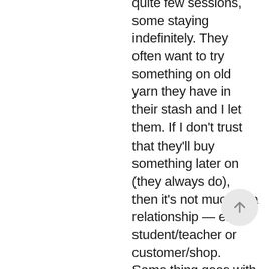quite few sessions, some staying indefinitely. They often want to try something on old yarn they have in their stash and I let them. If I don't trust that they'll buy something later on (they always do), then it's not much of a relationship — either student/teacher or customer/shop. Same thing goes with helping fix
[Figure (other): Scroll-to-top button: circular light grey button with an upward-pointing arrow icon]